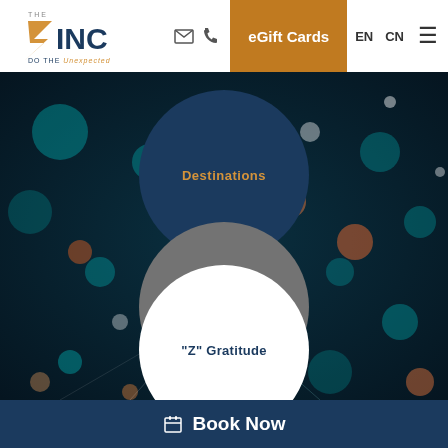[Figure (logo): The Zinc logo with lightning bolt Z and tagline 'DO THE Unexpected']
✉ 📞 eGift Cards EN CN ≡
[Figure (photo): Bokeh background with teal, orange and white light orbs with three overlapping circles: dark blue circle with 'Destinations', gray circle with 'Do The Unexpected', white circle with '"Z" Gratitude']
Destinations
Do The Unexpected
"Z" Gratitude
Book Now